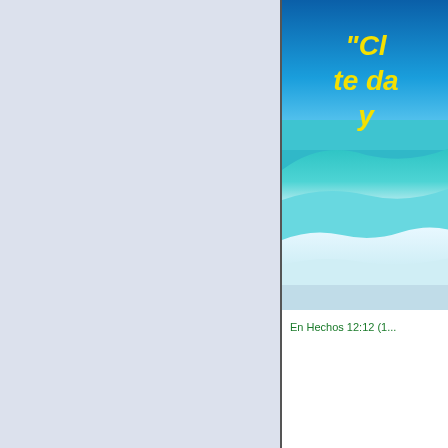[Figure (photo): Left panel with light blue-gray background, blank]
[Figure (photo): Ocean wave photo with blue sky and turquoise waves, with overlaid yellow italic bold text starting with 'Cl...' 'te da...' 'y ...']
En Hechos 12:12 (1...